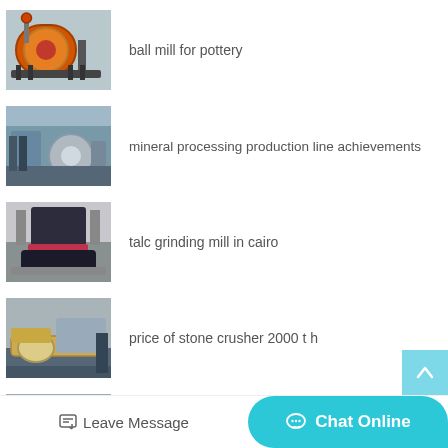[Figure (photo): Orange cylindrical ball mill machine on support frame outdoors]
ball mill for pottery
[Figure (photo): Industrial mineral processing production line machinery inside a factory]
mineral processing production line achievements
[Figure (photo): Large dark cone-shaped talc grinding mill machine on factory floor]
talc grinding mill in cairo
[Figure (photo): Stone crusher machine with yellow components in industrial setting]
price of stone crusher 2000 t h
[Figure (photo): Partially visible industrial machinery at bottom of page]
Leave Message   Chat Online